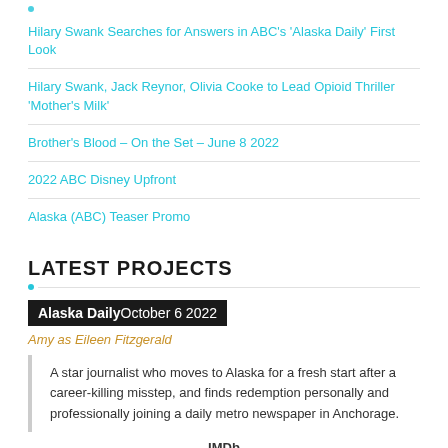Hilary Swank Searches for Answers in ABC’s ‘Alaska Daily’ First Look
Hilary Swank, Jack Reynor, Olivia Cooke to Lead Opioid Thriller ‘Mother’s Milk’
Brother’s Blood – On the Set – June 8 2022
2022 ABC Disney Upfront
Alaska (ABC) Teaser Promo
LATEST PROJECTS
Alaska Daily October 6 2022
Amy as Eileen Fitzgerald
A star journalist who moves to Alaska for a fresh start after a career-killing misstep, and finds redemption personally and professionally joining a daily metro newspaper in Anchorage.
IMDb